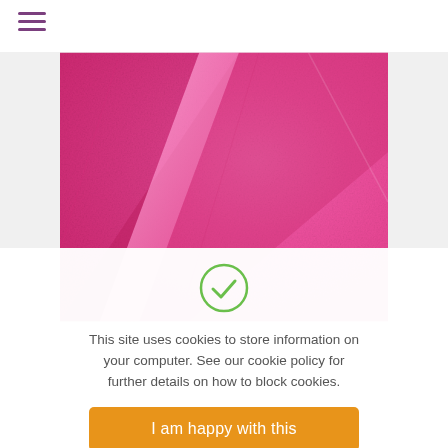[Figure (other): Hamburger menu icon with three horizontal purple lines]
[Figure (photo): Close-up photo of folded pink/hot pink fabric or felt material]
[Figure (other): Green circle checkmark icon indicating acceptance]
This site uses cookies to store information on your computer. See our cookie policy for further details on how to block cookies.
I am happy with this